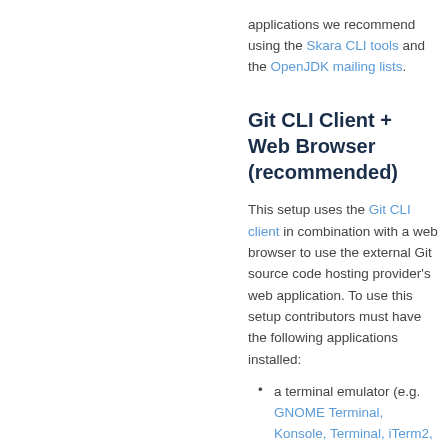applications we recommend using the Skara CLI tools and the OpenJDK mailing lists.
Git CLI Client + Web Browser (recommended)
This setup uses the Git CLI client in combination with a web browser to use the external Git source code hosting provider's web application. To use this setup contributors must have the following applications installed:
a terminal emulator (e.g. GNOME Terminal, Konsole, Terminal, iTerm2,